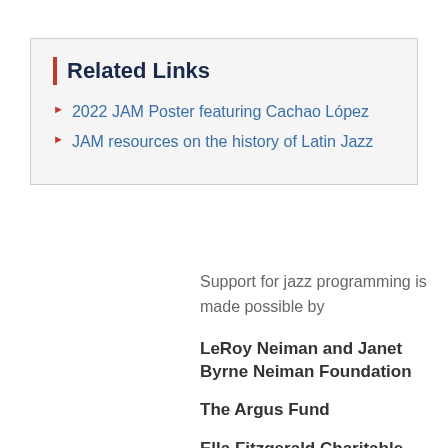Related Links
2022 JAM Poster featuring Cachao López
JAM resources on the history of Latin Jazz
Support for jazz programming is made possible by
LeRoy Neiman and Janet Byrne Neiman Foundation
The Argus Fund
Ella Fitzgerald Charitable Foundation